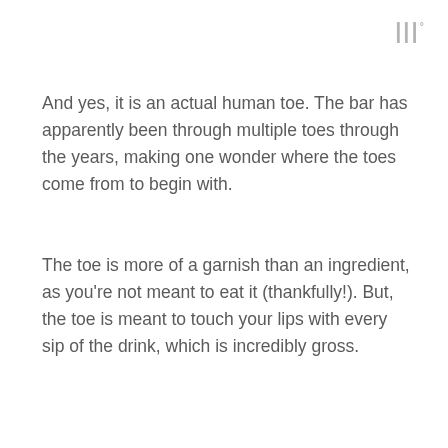ш°
And yes, it is an actual human toe. The bar has apparently been through multiple toes through the years, making one wonder where the toes come from to begin with.
The toe is more of a garnish than an ingredient, as you're not meant to eat it (thankfully!). But, the toe is meant to touch your lips with every sip of the drink, which is incredibly gross.
Squid Ink